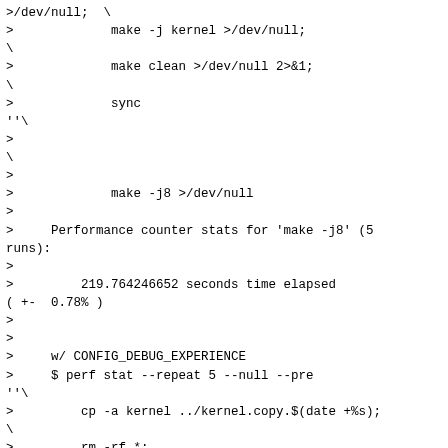>/dev/null; \
>             make -j kernel >/dev/null;
\
>             make clean >/dev/null 2>&1;
\
>             sync
''\
>
\
>
>             make -j8 >/dev/null
>
>     Performance counter stats for 'make -j8' (5 runs):
>
>         219.764246652 seconds time elapsed
( +-  0.78% )
>
>
>     w/ CONFIG_DEBUG_EXPERIENCE
>     $ perf stat --repeat 5 --null --pre
''\
>         cp -a kernel ../kernel.copy.$(date +%s);
\
>         rm -rf *;
\
>         git checkout .;
\
>         echo 1 > /proc/sys/vm/drop_caches;
\
>         find ../kernel* -type f | xargs cat
>/dev/null; \
>